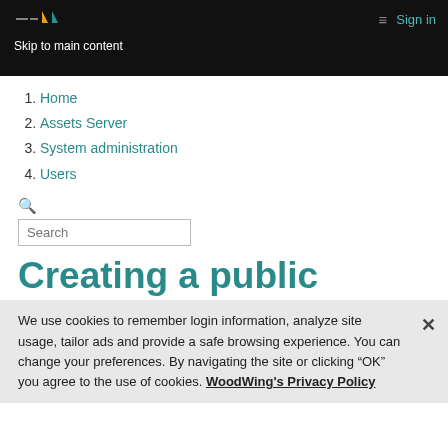Skip to main content | Sign in
1. Home
2. Assets Server
3. System administration
4. Users
Search
Creating a public
We use cookies to remember login information, analyze site usage, tailor ads and provide a safe browsing experience. You can change your preferences. By navigating the site or clicking “OK” you agree to the use of cookies. WoodWing's Privacy Policy